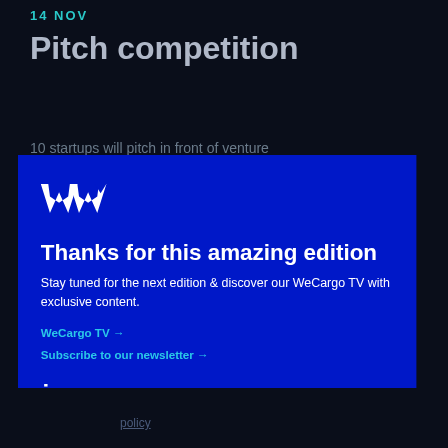14 NOV
Pitch competition
10 startups will pitch in front of venture
[Figure (logo): WeCargo logo — stylized W shape in white on blue background]
Thanks for this amazing edition
Stay tuned for the next edition & discover our WeCargo TV with exclusive content.
WeCargo TV →
Subscribe to our newsletter →
[Figure (logo): LinkedIn 'in' logo in white]
policy